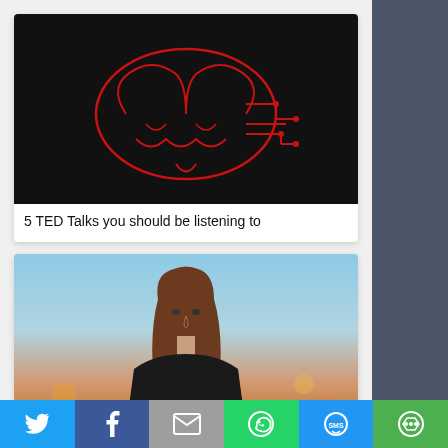[Figure (illustration): Card with a glowing red circuit brain on black background]
5 TED Talks you should be listening to
[Figure (photo): Card with portrait photo of a young woman with long brown hair against a blurred city background]
Who's Hot For 2017
[Figure (photo): Card showing partial stadium/sports image]
[Figure (infographic): Share bar with Twitter, Facebook, Email, WhatsApp, SMS, and More buttons]